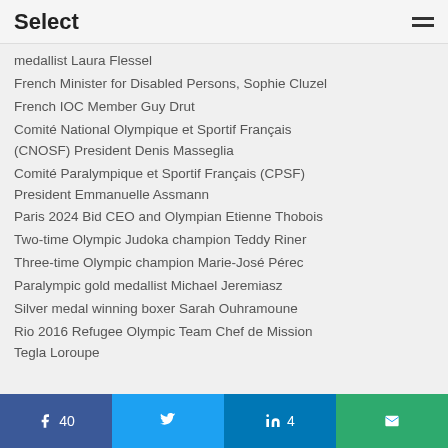Select
medallist Laura Flessel
French Minister for Disabled Persons, Sophie Cluzel
French IOC Member Guy Drut
Comité National Olympique et Sportif Français (CNOSF) President Denis Masseglia
Comité Paralympique et Sportif Français (CPSF) President Emmanuelle Assmann
Paris 2024 Bid CEO and Olympian Etienne Thobois
Two-time Olympic Judoka champion Teddy Riner
Three-time Olympic champion Marie-José Pérec
Paralympic gold medallist Michael Jeremiasz
Silver medal winning boxer Sarah Ouhramoune
Rio 2016 Refugee Olympic Team Chef de Mission Tegla Loroupe
f 40  |  Twitter share  |  in 4  |  email